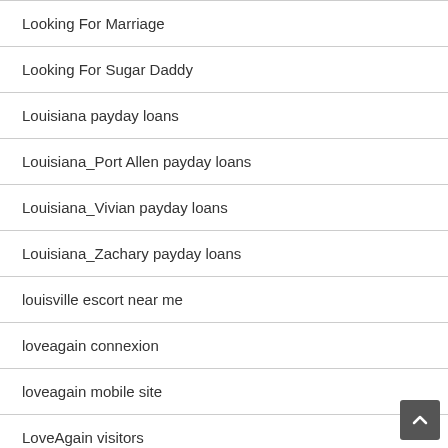Looking For Marriage
Looking For Sugar Daddy
Louisiana payday loans
Louisiana_Port Allen payday loans
Louisiana_Vivian payday loans
Louisiana_Zachary payday loans
louisville escort near me
loveagain connexion
loveagain mobile site
LoveAgain visitors
loveagain web
loveaholics dating
loveaholics sito di incontri